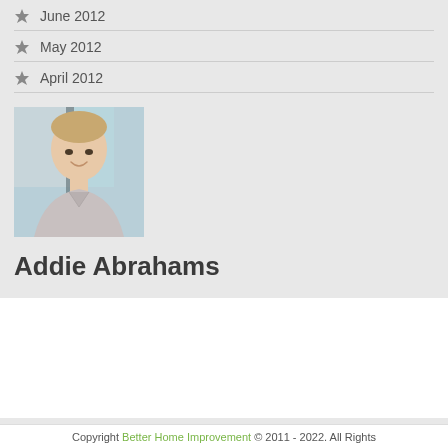June 2012
May 2012
April 2012
[Figure (photo): Portrait photo of a smiling man wearing a light grey v-neck sweater, in a bright indoor setting]
Addie Abrahams
Copyright Better Home Improvement © 2011 - 2022. All Rights